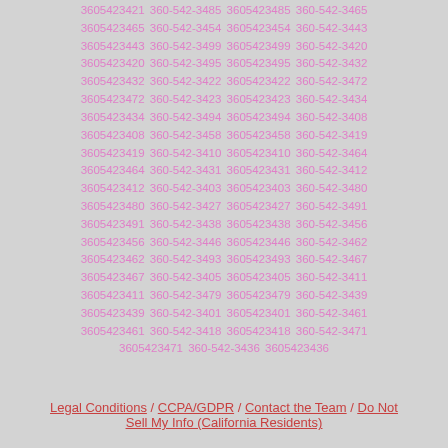3605423421 360-542-3485 3605423485 360-542-3465 3605423465 360-542-3454 3605423454 360-542-3443 3605423443 360-542-3499 3605423499 360-542-3420 3605423420 360-542-3495 3605423495 360-542-3432 3605423432 360-542-3422 3605423422 360-542-3472 3605423472 360-542-3423 3605423423 360-542-3434 3605423434 360-542-3494 3605423494 360-542-3408 3605423408 360-542-3458 3605423458 360-542-3419 3605423419 360-542-3410 3605423410 360-542-3464 3605423464 360-542-3431 3605423431 360-542-3412 3605423412 360-542-3403 3605423403 360-542-3480 3605423480 360-542-3427 3605423427 360-542-3491 3605423491 360-542-3438 3605423438 360-542-3456 3605423456 360-542-3446 3605423446 360-542-3462 3605423462 360-542-3493 3605423493 360-542-3467 3605423467 360-542-3405 3605423405 360-542-3411 3605423411 360-542-3479 3605423479 360-542-3439 3605423439 360-542-3401 3605423401 360-542-3461 3605423461 360-542-3418 3605423418 360-542-3471 3605423471 360-542-3436 3605423436
Legal Conditions / CCPA/GDPR / Contact the Team / Do Not Sell My Info (California Residents)